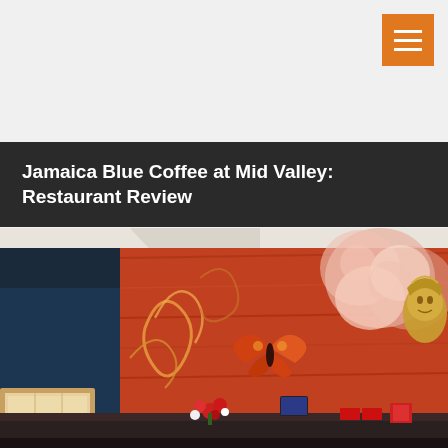[Figure (other): Orange hamburger menu button with three horizontal white lines, positioned in top-right corner]
Jamaica Blue Coffee at Mid Valley: Restaurant Review
[Figure (photo): Interior photo of Jamaica Blue Coffee restaurant showing a decorative mural on the wall with orange and red tones featuring a butterfly and a golden statue face, with a counter and display case visible in the foreground, and flowers on the counter]